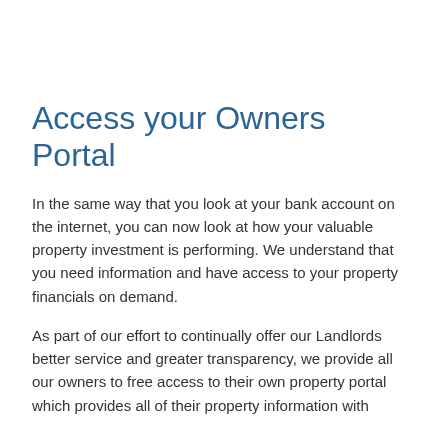Access your Owners Portal
In the same way that you look at your bank account on the internet, you can now look at how your valuable property investment is performing. We understand that you need information and have access to your property financials on demand.
As part of our effort to continually offer our Landlords better service and greater transparency, we provide all our owners to free access to their own property portal which provides all of their property information with